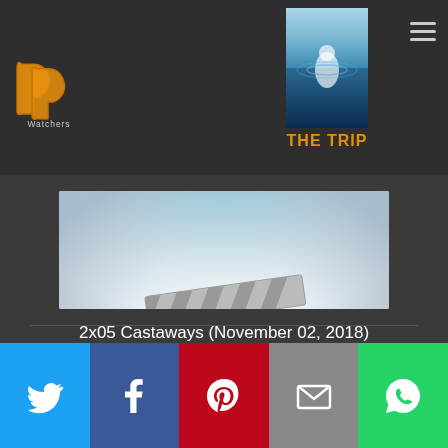[Figure (logo): PP Watchers logo - two overlapping P shapes in orange/gold on dark background with 'Watchers' text below]
[Figure (photo): Movie poster for 'THE TRIP' - fantasy/adventure theme with characters underwater]
THE TRIP
[Figure (photo): Episode thumbnail placeholder - gray clapperboard icon on light blue/white gradient background]
2x05 Castaways (November 02, 2018)
[Figure (infographic): Social sharing bar with Twitter (blue), Facebook (dark blue), Pinterest (red), Email (gray), WhatsApp (green) buttons]